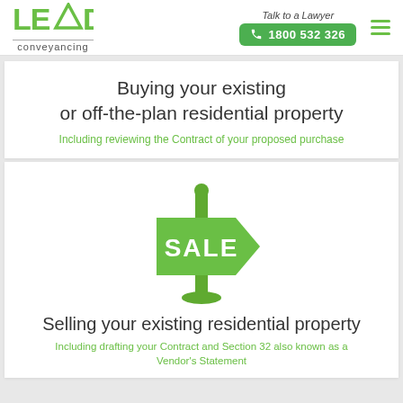LEAD conveyancing — Talk to a Lawyer — 1800 532 326
Buying your existing or off-the-plan residential property
Including reviewing the Contract of your proposed purchase
[Figure (illustration): Green SALE sign on a post — real estate for sale signage icon]
Selling your existing residential property
Including drafting your Contract and Section 32 also known as a Vendor's Statement